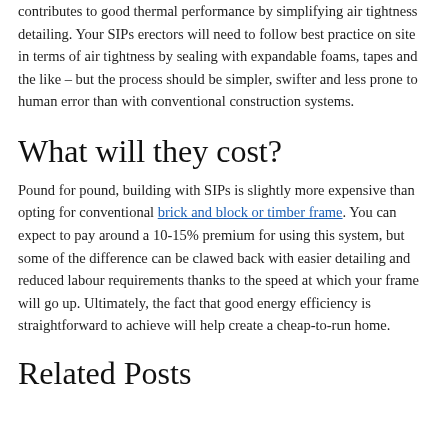contributes to good thermal performance by simplifying air tightness detailing. Your SIPs erectors will need to follow best practice on site in terms of air tightness by sealing with expandable foams, tapes and the like – but the process should be simpler, swifter and less prone to human error than with conventional construction systems.
What will they cost?
Pound for pound, building with SIPs is slightly more expensive than opting for conventional brick and block or timber frame. You can expect to pay around a 10-15% premium for using this system, but some of the difference can be clawed back with easier detailing and reduced labour requirements thanks to the speed at which your frame will go up. Ultimately, the fact that good energy efficiency is straightforward to achieve will help create a cheap-to-run home.
Related Posts